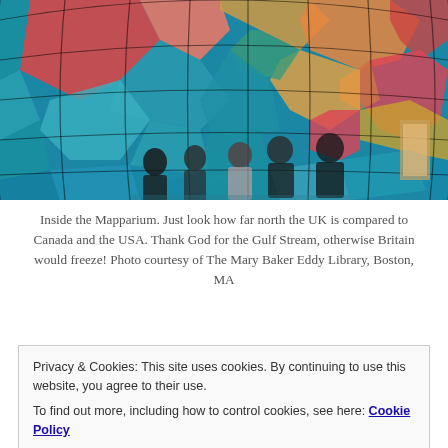[Figure (photo): Interior of the Mapparium — a large stained-glass globe showing world continents in red/orange/teal/green. Several people stand inside looking up at the globe panels.]
Inside the Mapparium. Just look how far north the UK is compared to Canada and the USA. Thank God for the Gulf Stream, otherwise Britain would freeze! Photo courtesy of The Mary Baker Eddy Library, Boston, MA
The globe was made in 1935, and has never been
Privacy & Cookies: This site uses cookies. By continuing to use this website, you agree to their use.
To find out more, including how to control cookies, see here: Cookie Policy
[Close and accept button]
ponder at what the hell Tannu Tuva is, check out old place